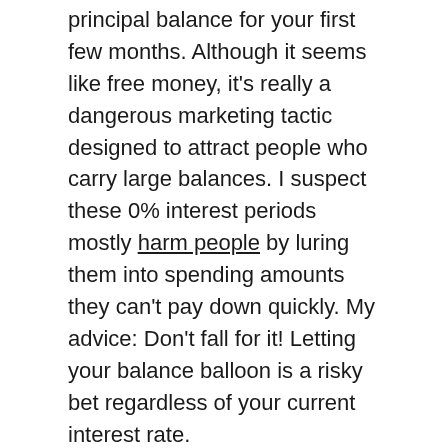principal balance for your first few months. Although it seems like free money, it's really a dangerous marketing tactic designed to attract people who carry large balances. I suspect these 0% interest periods mostly harm people by luring them into spending amounts they can't pay down quickly. My advice: Don't fall for it! Letting your balance balloon is a risky bet regardless of your current interest rate.
Conclusion
That's it for my list of all the best cash back credit cards for international travel. Pick your favorite and apply to get basic no-fee cash